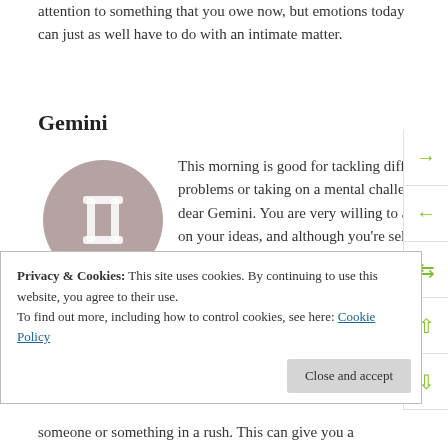attention to something that you owe now, but emotions today can just as well have to do with an intimate matter.
Gemini
[Figure (illustration): Gemini zodiac symbol: a mauve/rosewood circle with the Gemini glyph (two vertical lines connected at top and bottom) in white, with the label 'Gemini' below.]
This morning is good for tackling difficult problems or taking on a mental challenge, dear Gemini. You are very willing to act on your ideas, and although you're self-motivated now, a partner or speci...
Privacy & Cookies: This site uses cookies. By continuing to use this website, you agree to their use. To find out more, including how to control cookies, see here: Cookie Policy
Close and accept
someone or something in a rush. This can give you a